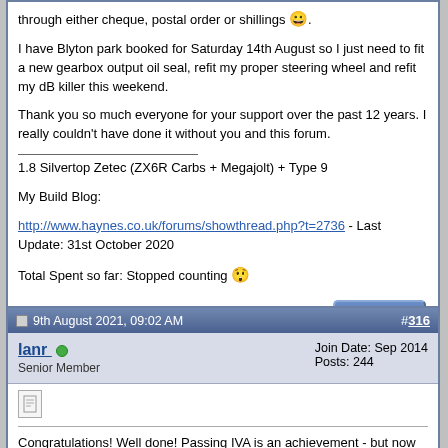through either cheque, postal order or shillings 😀.
I have Blyton park booked for Saturday 14th August so I just need to fit a new gearbox output oil seal, refit my proper steering wheel and refit my dB killer this weekend.
Thank you so much everyone for your support over the past 12 years. I really couldn't have done it without you and this forum.
1.8 Silvertop Zetec (ZX6R Carbs + Megajolt) + Type 9
My Build Blog:
http://www.haynes.co.uk/forums/showthread.php?t=2736 - Last Update: 31st October 2020
Total Spent so far: Stopped counting 😲
9th August 2021, 09:02 AM  #316
Ianr  Senior Member
Join Date: Sep 2014
Posts: 244
Congratulations! Well done! Passing IVA is an achievement - but now the fun starts 🙂